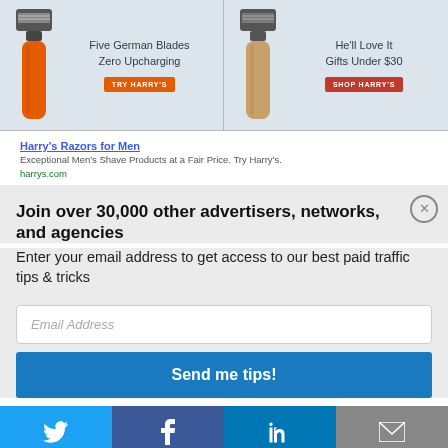[Figure (photo): Harry's Razors advertisement banner split into two panels. Left panel shows an orange-handled razor with text 'Five German Blades / Zero Upcharging' and an orange 'TRY HARRY'S' button. Right panel shows a gold/rose-handled razor with text 'He'll Love It / Gifts Under $30' and a red 'SHOP HARRY'S' button.]
Harry's Razors for Men
Exceptional Men's Shave Products at a Fair Price. Try Harry's.
harrys.com
Join over 30,000 other advertisers, networks, and agencies
Enter your email address to get access to our best paid traffic tips & tricks
Email Address
Send me tips!
[Figure (infographic): Social sharing bar with four buttons: Twitter (blue), Facebook (dark blue), LinkedIn (blue), Email (grey)]